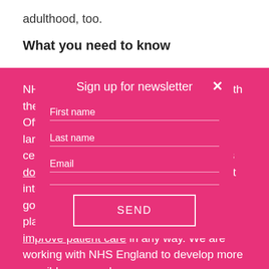adulthood, too.
What you need to know
NHS England's plans are nothing to do with the quality of care at Royal Brompton. Official data shows that we are one of the largest, safest and most effective CHD centres in the UK. We believe these plans do not make sense and are not in the best interests of our patients. The Trust's governors and board strongly oppose the plans. They do not think the changes will improve patient care in any way. We are working with NHS England to develop more sensible proposals.
However, we can't do this without you, our supporters.
How you can help
[Figure (other): Newsletter sign-up overlay modal with fields for First name, Last name, Email, and a SEND button. Has a close (×) button in top right corner.]